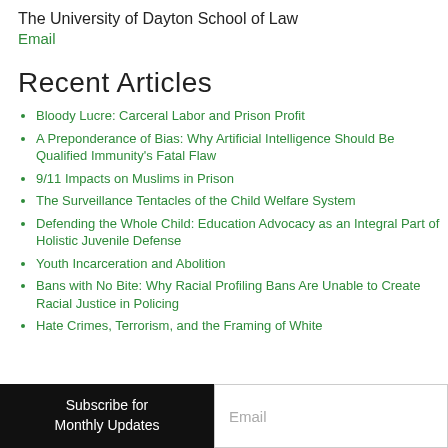The University of Dayton School of Law
Email
Recent Articles
Bloody Lucre: Carceral Labor and Prison Profit
A Preponderance of Bias: Why Artificial Intelligence Should Be Qualified Immunity's Fatal Flaw
9/11 Impacts on Muslims in Prison
The Surveillance Tentacles of the Child Welfare System
Defending the Whole Child: Education Advocacy as an Integral Part of Holistic Juvenile Defense
Youth Incarceration and Abolition
Bans with No Bite: Why Racial Profiling Bans Are Unable to Create Racial Justice in Policing
Hate Crimes, Terrorism, and the Framing of White
Subscribe for Monthly Updates
Email